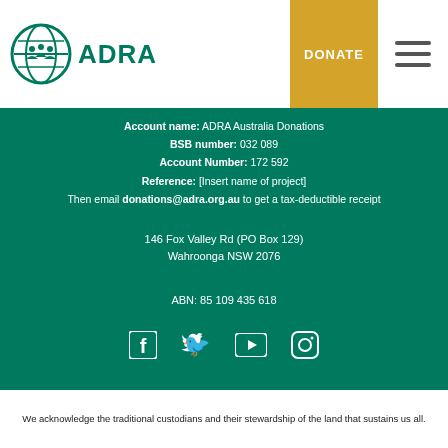[Figure (logo): ADRA logo with globe icon and green text]
DONATE
Account name: ADRA Australia Donations
BSB number: 032 089
Account Number: 172 592
Reference: [Insert name of project]
Then email donations@adra.org.au to get a tax-deductible receipt
146 Fox Valley Rd (PO Box 129)
Wahroonga NSW 2076
ABN: 85 109 435 618
[Figure (illustration): Social media icons: Facebook, Twitter, YouTube, Instagram]
We acknowledge the traditional custodians and their stewardship of the land that sustains us all.